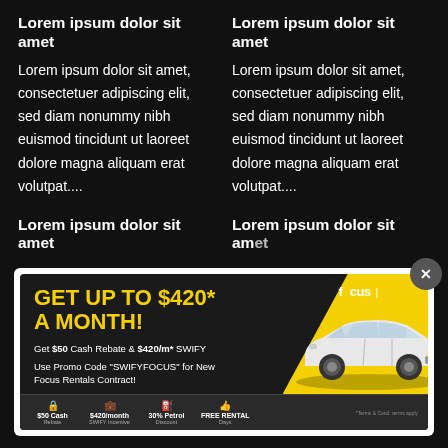Lorem ipsum dolor sit amet
Lorem ipsum dolor sit amet
Lorem ipsum dolor sit amet, consectetuer adipiscing elit, sed diam nonummy nibh euismod tincidunt ut laoreet dolore magna aliquam erat volutpat....
Lorem ipsum dolor sit amet, consectetuer adipiscing elit, sed diam nonummy nibh euismod tincidunt ut laoreet dolore magna aliquam erat volutpat....
Lorem ipsum dolor sit amet
Lorem ipsum dolor sit amet
[Figure (advertisement): Car rental advertisement for Focus and Swify.co. Text reads: GET UP TO $420* A MONTH! Get $50 Cash Rebate & $420/m* SWIFY. Use Promo Code 'SWIFYFOCUS' for New Focus Rentals Contract! Shows a white Toyota Corolla on a yellow background with icons for $50 Cash Rebate, $420/month SWIFY Incentive, 30% Petrol Discount, FREE RENTAL Days.]